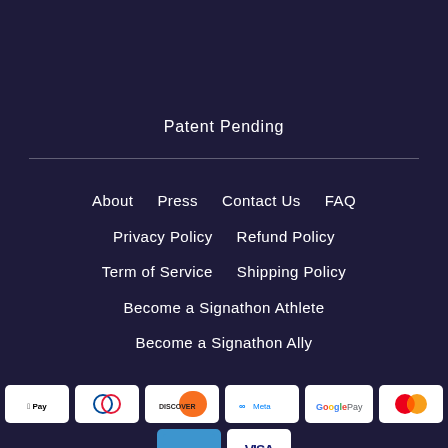Patent Pending
About
Press
Contact Us
FAQ
Privacy Policy
Refund Policy
Term of Service
Shipping Policy
Become a Signathon Athlete
Become a Signathon Ally
[Figure (logo): Payment method icons: American Express, Apple Pay, Diners Club, Discover, Meta Pay, Google Pay, Mastercard, PayPal, Venmo, Visa]